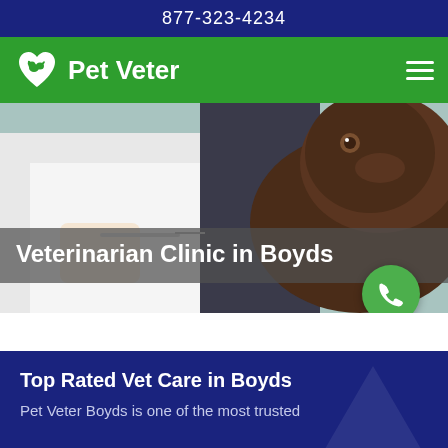877-323-4234
Pet Veter
[Figure (photo): Veterinarian in white coat administering injection to a dark brown Labrador dog, close-up shot]
Veterinarian Clinic in Boyds
Top Rated Vet Care in Boyds
Pet Veter Boyds is one of the most trusted